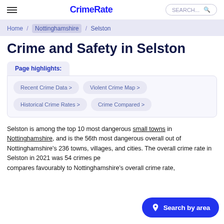CrimeRate
Home / Nottinghamshire / Selston
Crime and Safety in Selston
Page highlights:
Recent Crime Data >
Violent Crime Map >
Historical Crime Rates >
Crime Compared >
Selston is among the top 10 most dangerous small towns in Nottinghamshire, and is the 56th most dangerous overall out of Nottinghamshire's 236 towns, villages, and cities. The overall crime rate in Selston in 2021 was 54 crimes per... compares favourably to Nottinghamshire's overall crime rate,